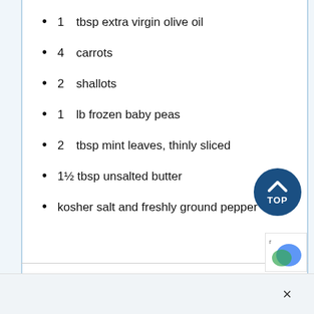1  tbsp extra virgin olive oil
4  carrots
2  shallots
1  lb frozen baby peas
2  tbsp mint leaves, thinly sliced
1½  tbsp unsalted butter
kosher salt and freshly ground pepper
[Figure (other): Blue circle TOP button (scroll-to-top UI element)]
[Figure (other): reCAPTCHA logo partial]
×